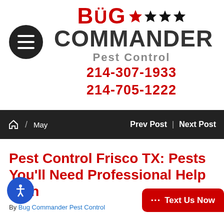[Figure (logo): Bug Commander Pest Control logo with red BUG text, black COMMANDER text, gray Pest Control subtitle, four stars (one red, three black), and two red phone numbers: 214-307-1933 and 214-705-1222]
Home / May   Prev Post | Next Post
Pest Control Frisco TX: Pests You'll Need Professional Help With
By Bug Commander Pest Control